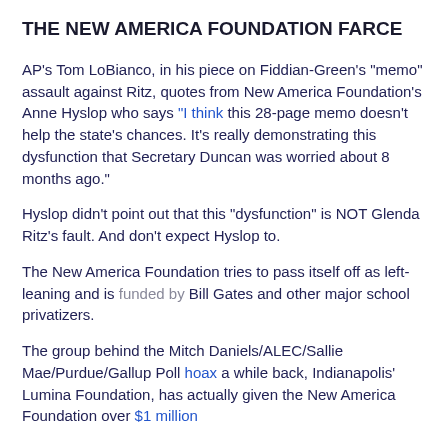THE NEW AMERICA FOUNDATION FARCE
AP's Tom LoBianco, in his piece on Fiddian-Green's “memo” assault against Ritz, quotes from New America Foundation’s Anne Hyslop who says “I think this 28-page memo doesn’t help the state’s chances. It’s really demonstrating this dysfunction that Secretary Duncan was worried about 8 months ago.”
Hyslop didn’t point out that this “dysfunction” is NOT Glenda Ritz’s fault.  And don’t expect Hyslop to.
The New America Foundation tries to pass itself off as left-leaning and is funded by Bill Gates and other major school privatizers.
The group behind the Mitch Daniels/ALEC/Sallie Mae/Purdue/Gallup Poll hoax a while back, Indianapolis’ Lumina Foundation, has actually given the New America Foundation over $1 million